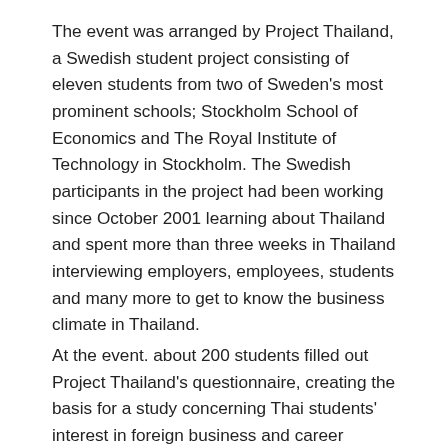The event was arranged by Project Thailand, a Swedish student project consisting of eleven students from two of Sweden's most prominent schools; Stockholm School of Economics and The Royal Institute of Technology in Stockholm. The Swedish participants in the project had been working since October 2001 learning about Thailand and spent more than three weeks in Thailand interviewing employers, employees, students and many more to get to know the business climate in Thailand.
At the event. about 200 students filled out Project Thailand's questionnaire, creating the basis for a study concerning Thai students' interest in foreign business and career opportunities – among others in Sweden.
H.E Dr. Kantathi Suphamongkhon, Thailand Trade Representative to Sweden, and Mr. Bengt Carlsson,